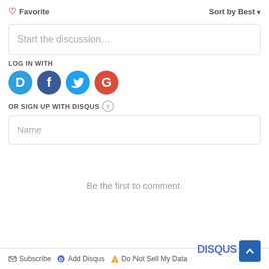♡ Favorite
Sort by Best ▾
Start the discussion…
LOG IN WITH
[Figure (illustration): Four social login icons: Disqus (blue circle with D), Facebook (dark blue circle with f), Twitter (light blue circle with bird), Google (red circle with G)]
OR SIGN UP WITH DISQUS ?
Name
Be the first to comment.
✉ Subscribe  ⓓ Add Disqus  ⚠ Do Not Sell My Data   DISQUS